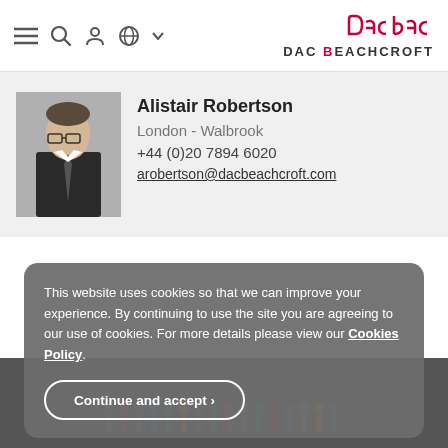[Figure (screenshot): DAC Beachcroft website navigation bar with hamburger menu, search, user, globe icons and DAC Beachcroft logo in red and dark grey]
[Figure (photo): Black and white professional headshot of Alistair Robertson, a man wearing glasses and a suit]
Alistair Robertson
London - Walbrook
+44 (0)20 7894 6020
arobertson@dacbeachcroft.com
This website uses cookies so that we can improve your experience. By continuing to use the site you are agreeing to our use of cookies. For more details please view our Cookies Policy.
Continue and accept ›